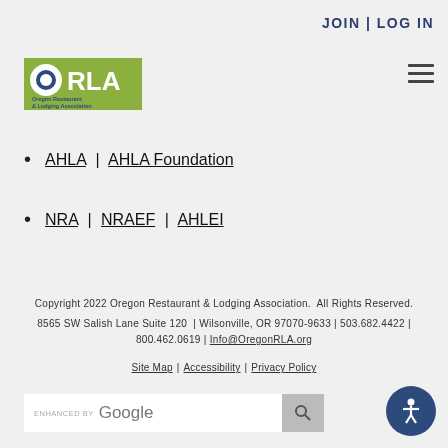JOIN | LOG IN
[Figure (logo): ORLA Oregon Restaurant & Lodging Association logo with green background]
AHLA | AHLA Foundation
NRA | NRAEF | AHLEI
Copyright 2022 Oregon Restaurant & Lodging Association.  All Rights Reserved.
8565 SW Salish Lane Suite 120  | Wilsonville, OR 97070-9633 | 503.682.4422 | 800.462.0619 | Info@OregonRLA.org
Site Map | Accessibility | Privacy Policy